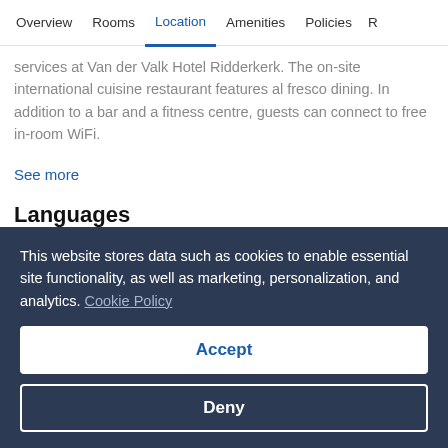Overview | Rooms | Location | Amenities | Policies | R...
services at Van der Valk Hotel Ridderkerk. The on-site international cuisine restaurant features al fresco dining. In addition to a bar and a fitness centre, guests can connect to free in-room WiFi.
See more
Languages
Dutch, English, German
This website stores data such as cookies to enable essential site functionality, as well as marketing, personalization, and analytics. Cookie Policy
Accept
Deny